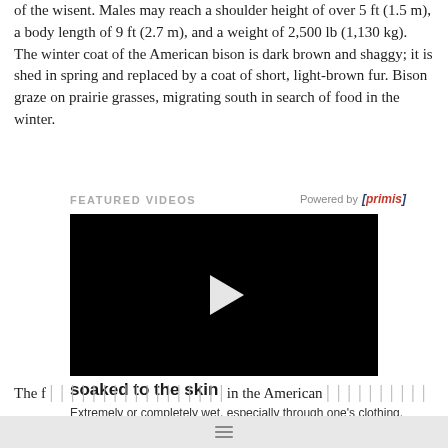of the wisent. Males may reach a shoulder height of over 5 ft (1.5 m), a body length of 9 ft (2.7 m), and a weight of 2,500 lb (1,130 kg). The winter coat of the American bison is dark brown and shaggy; it is shed in spring and replaced by a coat of short, light-brown fur. Bison graze on prairie grasses, migrating south in search of food in the winter.
FEATURED VIDEOS
[Figure (screenshot): Black video player with a white play button triangle in the center, with title 'soaked to the skin' and description 'Extremely or completely wet, especially through one's clothing.' and a Read More link. Powered by [primis] branding shown above.]
Advertisement. Bad banner? Please let us know Remove Ads
The former large form...in the American, especially the...